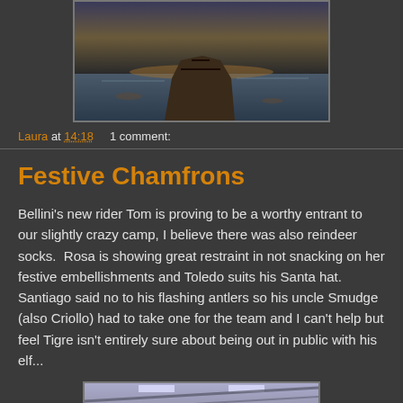[Figure (photo): Photo taken from horseback perspective on a beach at sunset/dusk, looking over the horse's ears toward the water]
Laura at 14:18    1 comment:
Festive Chamfrons
Bellini's new rider Tom is proving to be a worthy entrant to our slightly crazy camp, I believe there was also reindeer socks.  Rosa is showing great restraint in not snacking on her festive embellishments and Toledo suits his Santa hat. Santiago said no to his flashing antlers so his uncle Smudge (also Criollo) had to take one for the team and I can't help but feel Tigre isn't entirely sure about being out in public with his elf...
[Figure (photo): Indoor photo, partially visible at bottom of page]